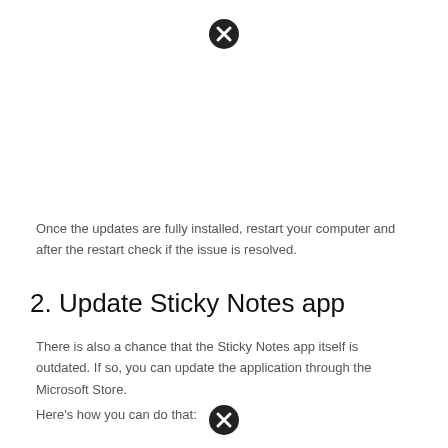[Figure (other): Close/error icon (circle with X) at top center of page]
Once the updates are fully installed, restart your computer and after the restart check if the issue is resolved.
2. Update Sticky Notes app
There is also a chance that the Sticky Notes app itself is outdated. If so, you can update the application through the Microsoft Store.
Here's how you can do that:
[Figure (other): Close/error icon (circle with X) at bottom center of page]